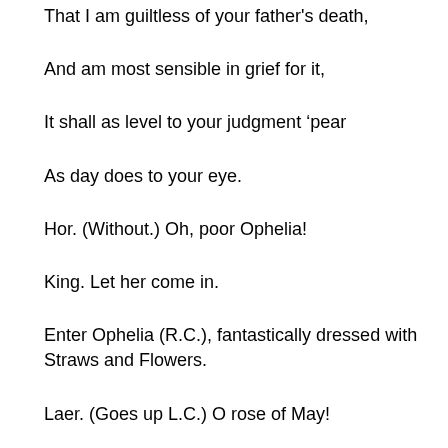That I am guiltless of your father's death,
And am most sensible in grief for it,
It shall as level to your judgment 'pear
As day does to your eye.
Hor. (Without.) Oh, poor Ophelia!
King. Let her come in.
Enter Ophelia (R.C.), fantastically dressed with Straws and Flowers.
Laer. (Goes up L.C.) O rose of May!